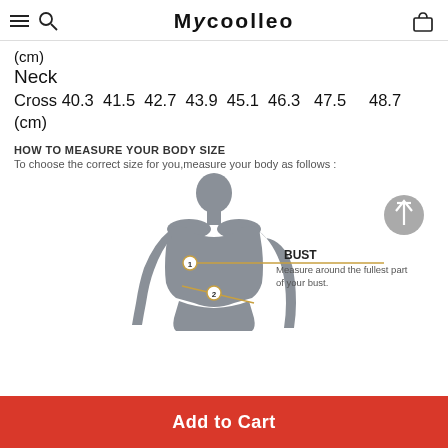MYCOOLLEO
(cm)
Neck
Cross 40.3  41.5  42.7  43.9  45.1  46.3  47.5  48.7
(cm)
HOW TO MEASURE YOUR BODY SIZE
To choose the correct size for you,measure your body as follows :
[Figure (illustration): Silhouette of a female body showing measurement points: 1 = BUST (measure around the fullest part of your bust), 2 = waist area. A horizontal golden line extends from point 1 labeled BUST with description.]
Add to Cart